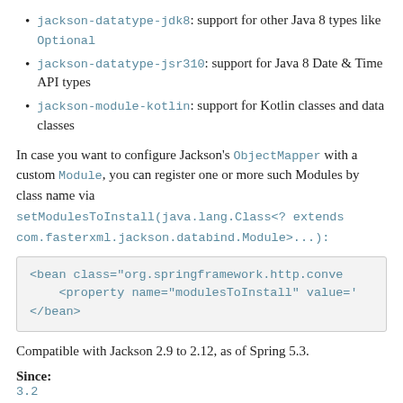jackson-datatype-jdk8: support for other Java 8 types like Optional
jackson-datatype-jsr310: support for Java 8 Date & Time API types
jackson-module-kotlin: support for Kotlin classes and data classes
In case you want to configure Jackson's ObjectMapper with a custom Module, you can register one or more such Modules by class name via setModulesToInstall(java.lang.Class<? extends com.fasterxml.jackson.databind.Module>...):
<bean class="org.springframework.http.conve
    <property name="modulesToInstall" value='
</bean>
Compatible with Jackson 2.9 to 2.12, as of Spring 5.3.
Since:
3.2
Author: